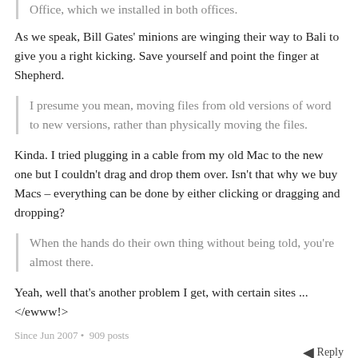Office, which we installed in both offices.
As we speak, Bill Gates' minions are winging their way to Bali to give you a right kicking. Save yourself and point the finger at Shepherd.
I presume you mean, moving files from old versions of word to new versions, rather than physically moving the files.
Kinda. I tried plugging in a cable from my old Mac to the new one but I couldn't drag and drop them over. Isn't that why we buy Macs – everything can be done by either clicking or dragging and dropping?
When the hands do their own thing without being told, you're almost there.
Yeah, well that's another problem I get, with certain sites ... </ewww!>
Since Jun 2007 • 909 posts
Reply
range, 14 years ago